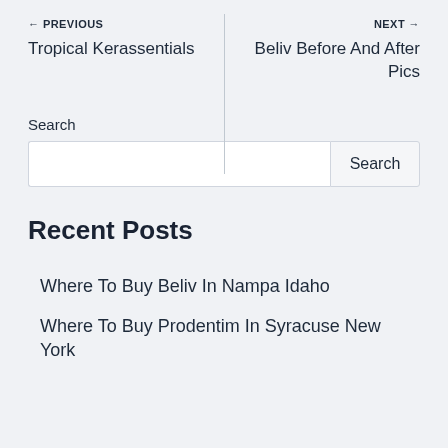← PREVIOUS
Tropical Kerassentials
NEXT →
Beliv Before And After Pics
Search
Recent Posts
Where To Buy Beliv In Nampa Idaho
Where To Buy Prodentim In Syracuse New York